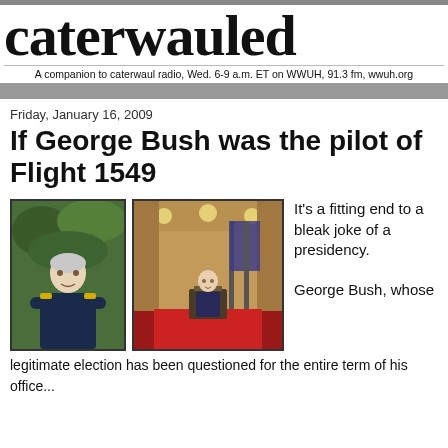caterwauled
A companion to caterwaul radio, Wed. 6-9 a.m. ET on WWUH, 91.3 fm, wwuh.org
Friday, January 16, 2009
If George Bush was the pilot of Flight 1549
[Figure (photo): Photo of a pilot in uniform with arms crossed, standing in front of foliage]
[Figure (photo): Photo of George Bush standing at a podium in a formal room with flags]
It's a fitting end to a bleak joke of a presidency.

George Bush, whose legitimate election has been questioned for the entire term of his office...